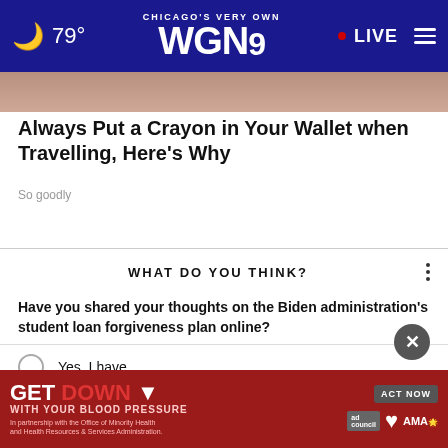[Figure (screenshot): WGN9 TV station navigation bar with moon icon, 79° temperature, Chicago's Very Own WGN9 logo, red LIVE dot, and hamburger menu on dark blue background]
Always Put a Crayon in Your Wallet when Travelling, Here's Why
So goodly
WHAT DO YOU THINK?
Have you shared your thoughts on the Biden administration's student loan forgiveness plan online?
Yes, I have
No, but I might soon
No, and I likely will not
[Figure (other): Red advertisement banner: GET DOWN WITH YOUR BLOOD PRESSURE, ACT NOW button, ad council logo, heart logo, AMA logo]
GET DOWN WITH YOUR BLOOD PRESSURE
In partnership with the Office of Minority Health and Health Resources & Services Administration.
ACT NOW